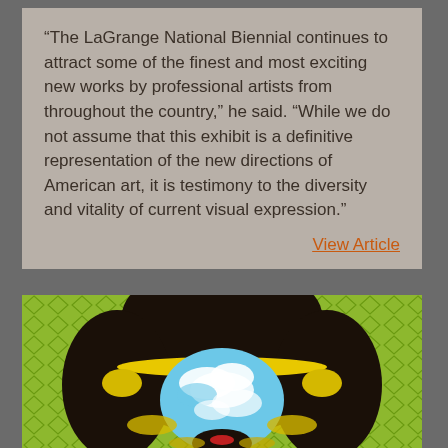“The LaGrange National Biennial continues to attract some of the finest and most exciting new works by professional artists from throughout the country,” he said. “While we do not assume that this exhibit is a definitive representation of the new directions of American art, it is testimony to the diversity and vitality of current visual expression.”
View Article
[Figure (illustration): Pop-art style portrait of a person with dark hair, yellow highlights, face replaced by blue sky with white clouds, on a green geometric diamond-pattern background.]